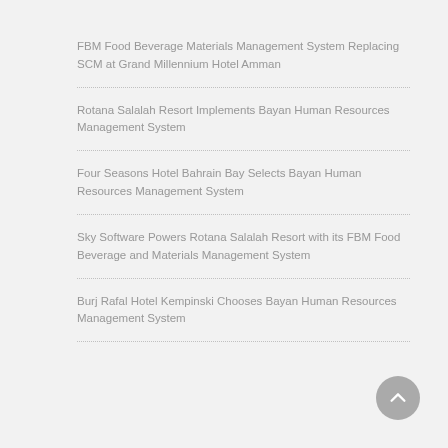FBM Food Beverage Materials Management System Replacing SCM at Grand Millennium Hotel Amman
Rotana Salalah Resort Implements Bayan Human Resources Management System
Four Seasons Hotel Bahrain Bay Selects Bayan Human Resources Management System
Sky Software Powers Rotana Salalah Resort with its FBM Food Beverage and Materials Management System
Burj Rafal Hotel Kempinski Chooses Bayan Human Resources Management System